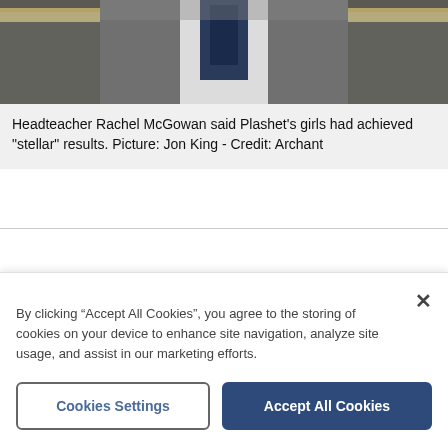[Figure (photo): Partial view of a person wearing a grey blazer and white shirt, photographed indoors with shelving visible in background. Only lower torso/chest visible.]
Headteacher Rachel McGowan said Plashet's girls had achieved "stellar" results. Picture: Jon King - Credit: Archant
By clicking “Accept All Cookies”, you agree to the storing of cookies on your device to enhance site navigation, analyze site usage, and assist in our marketing efforts.